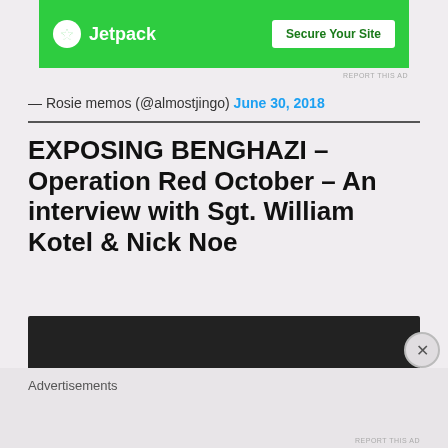[Figure (other): Jetpack advertisement banner with green background, Jetpack logo and 'Secure Your Site' button]
— Rosie memos (@almostjingo) June 30, 2018
EXPOSING BENGHAZI – Operation Red October – An interview with Sgt. William Kotel & Nick Noe
[Figure (other): Dark video embed block]
Advertisements